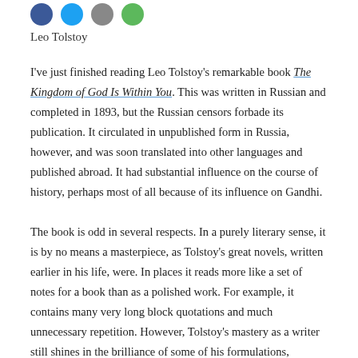[Figure (other): Four social media sharing icon circles: blue (Facebook), light blue (Twitter), gray (email/other), green (share/other)]
Leo Tolstoy
I've just finished reading Leo Tolstoy's remarkable book The Kingdom of God Is Within You. This was written in Russian and completed in 1893, but the Russian censors forbade its publication. It circulated in unpublished form in Russia, however, and was soon translated into other languages and published abroad. It had substantial influence on the course of history, perhaps most of all because of its influence on Gandhi.
The book is odd in several respects. In a purely literary sense, it is by no means a masterpiece, as Tolstoy's great novels, written earlier in his life, were. In places it reads more like a set of notes for a book than as a polished work. For example, it contains many very long block quotations and much unnecessary repetition. However, Tolstoy's mastery as a writer still shines in the brilliance of some of his formulations, especially in the second half of the book.